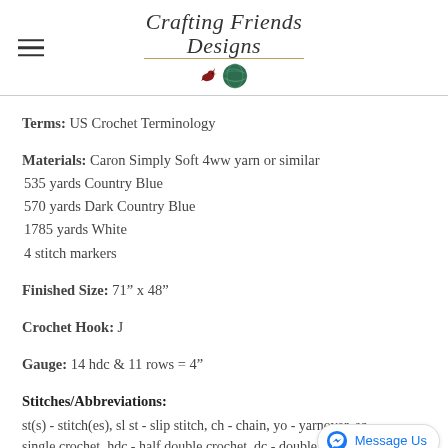Crafting Friends Designs
Terms: US Crochet Terminology
Materials: Caron Simply Soft 4ww yarn or similar
535 yards Country Blue
570 yards Dark Country Blue
1785 yards White
4 stitch markers
Finished Size: 71” x 48”
Crochet Hook: J
Gauge: 14 hdc & 11 rows = 4”
Stitches/Abbreviations:
st(s) - stitch(es), sl st - slip stitch, ch - chain, yo - yarnover, sc - single crochet, hdc - half double crochet, dc - double crochet